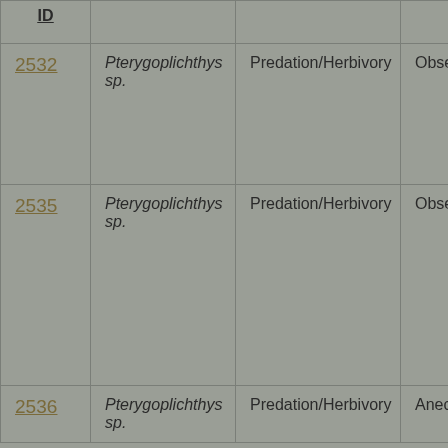| ID | [Species] | [Impact] | [Evidence] |
| --- | --- | --- | --- |
| 2532 | Pterygoplichthys sp. | Predation/Herbivory | Obser… |
| 2535 | Pterygoplichthys sp. | Predation/Herbivory | Obser… |
| 2536 | Pterygoplichthys sp. | Predation/Herbivory | Anec… |